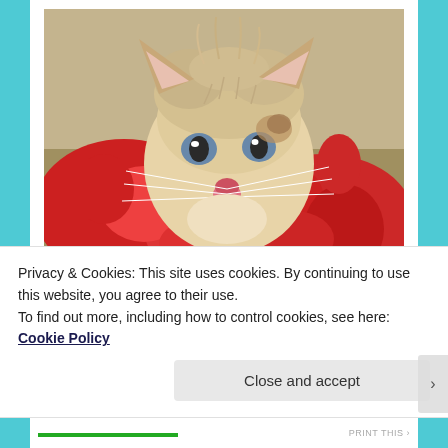[Figure (photo): A small orange/cream kitten with blue eyes and crusty nose being held in red cloth/towel hands]
with a visit to the local vet and medicines, and a good scrubbing of his face, as well as time, Augustus Noel grew and not only entertained us in the process with his
Privacy & Cookies: This site uses cookies. By continuing to use this website, you agree to their use.
To find out more, including how to control cookies, see here: Cookie Policy
Close and accept